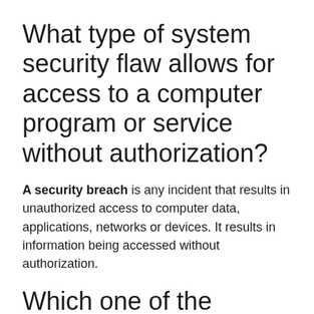What type of system security flaw allows for access to a computer program or service without authorization?
A security breach is any incident that results in unauthorized access to computer data, applications, networks or devices. It results in information being accessed without authorization.
Which one of the following terms means anything that can be considered to be a